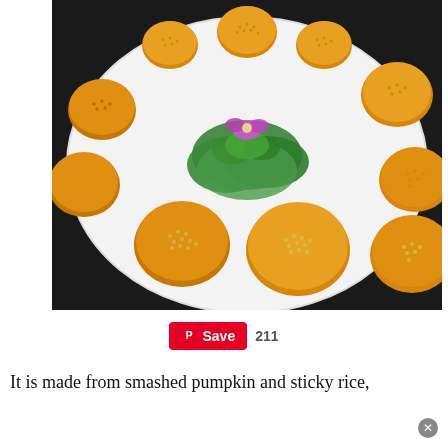[Figure (photo): A white plate arranged with golden-brown pumpkin rice cakes topped with sesame seeds, garnished with green parsley and a purple flower in the center.]
Save  211
It is made from smashed pumpkin and sticky rice,